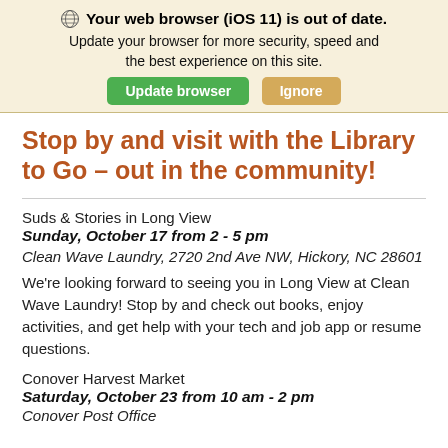Your web browser (iOS 11) is out of date. Update your browser for more security, speed and the best experience on this site.
Stop by and visit with the Library to Go – out in the community!
Suds & Stories in Long View
Sunday, October 17 from 2 - 5 pm
Clean Wave Laundry, 2720 2nd Ave NW, Hickory, NC 28601
We're looking forward to seeing you in Long View at Clean Wave Laundry! Stop by and check out books, enjoy activities, and get help with your tech and job app or resume questions.
Conover Harvest Market
Saturday, October 23 from 10 am - 2 pm
Conover Post Office